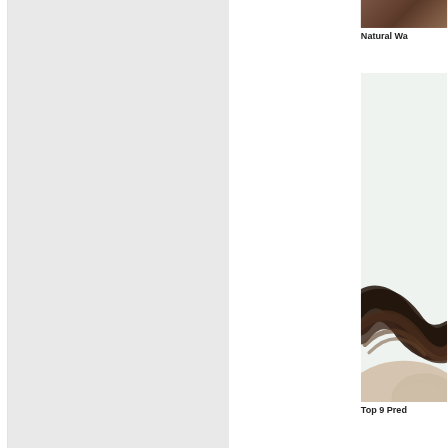[Figure (photo): Large light gray rectangle filling the left portion of the page, appears to be a placeholder or partial image crop]
[Figure (photo): Partial photo at top right showing dark brown tones, likely a cropped hair or portrait image]
Natural Wa
[Figure (photo): Photo of hair close-up on light mint/white background, showing dark brown hair strands over pale skin]
Top 9 Pred